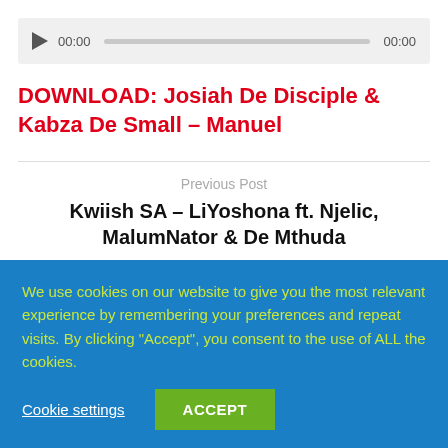[Figure (other): Audio player widget with play button, time display 00:00, progress bar, and end time 00:00]
DOWNLOAD: Josiah De Disciple & Kabza De Small – Manuel
Previous Post
Kwiish SA – LiYoshona ft. Njelic, MalumNator & De Mthuda
We use cookies on our website to give you the most relevant experience by remembering your preferences and repeat visits. By clicking "Accept", you consent to the use of ALL the cookies.
Cookie settings
ACCEPT